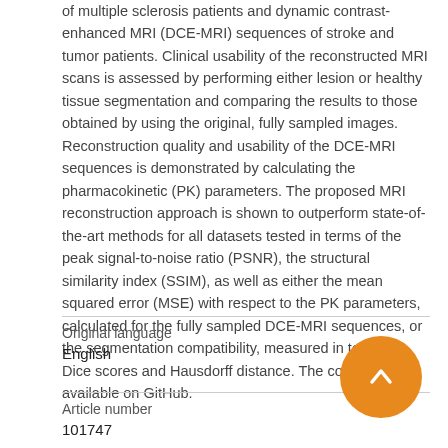of multiple sclerosis patients and dynamic contrast-enhanced MRI (DCE-MRI) sequences of stroke and tumor patients. Clinical usability of the reconstructed MRI scans is assessed by performing either lesion or healthy tissue segmentation and comparing the results to those obtained by using the original, fully sampled images. Reconstruction quality and usability of the DCE-MRI sequences is demonstrated by calculating the pharmacokinetic (PK) parameters. The proposed MRI reconstruction approach is shown to outperform state-of-the-art methods for all datasets tested in terms of the peak signal-to-noise ratio (PSNR), the structural similarity index (SSIM), as well as either the mean squared error (MSE) with respect to the PK parameters, calculated for the fully sampled DCE-MRI sequences, or the segmentation compatibility, measured in terms of Dice scores and Hausdorff distance. The code is available on GitHub.
| Original language |  |
| --- | --- |
| English |  |
| Article number |  |
| 101747 |  |